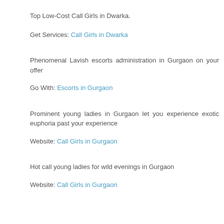Top Low-Cost Call Girls in Dwarka.
Get Services: Call Girls in Dwarka
Phenomenal Lavish escorts administration in Gurgaon on your offer
Go With: Escorts in Gurgaon
Prominent young ladies in Gurgaon let you experience exotic euphoria past your experience
Website: Call Girls in Gurgaon
Hot call young ladies for wild evenings in Gurgaon
Website: Call Girls in Gurgaon